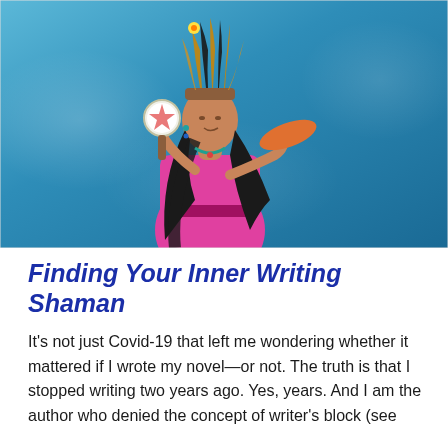[Figure (photo): A Native American woman in traditional regalia — feathered headdress, bright pink/magenta dress, beaded jewelry — holding a decorated rattle in one hand and a flat drum/fan in the other, posed against a blue sky with clouds.]
Finding Your Inner Writing Shaman
It's not just Covid-19 that left me wondering whether it mattered if I wrote my novel—or not. The truth is that I stopped writing two years ago. Yes, years. And I am the author who denied the concept of writer's block (see